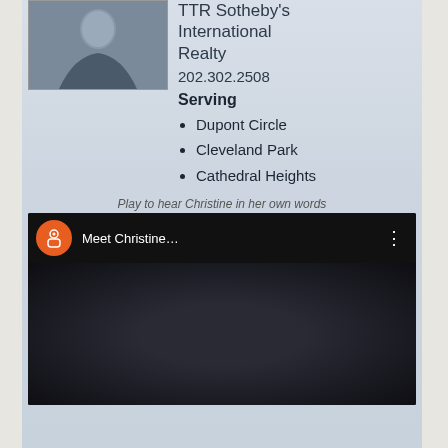[Figure (photo): Headshot photo of Christine, a woman in a dark blue sleeveless top]
TTR Sotheby's International Realty
202.302.2508
Serving
Dupont Circle
Cleveland Park
Cathedral Heights
Play to hear Christine in her own words
[Figure (screenshot): YouTube video player showing 'Meet Christine...' with play button overlay]